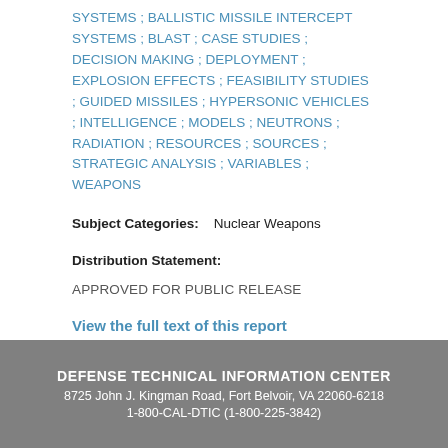SYSTEMS ; BALLISTIC MISSILE INTERCEPT SYSTEMS ; BLAST ; CASE STUDIES ; DECISION MAKING ; DEPLOYMENT ; EXPLOSION EFFECTS ; FEASIBILITY STUDIES ; GUIDED MISSILES ; HYPERSONIC VEHICLES ; INTELLIGENCE ; MODELS ; NEUTRONS ; RADIATION ; RESOURCES ; SOURCES ; STRATEGIC ANALYSIS ; VARIABLES ; WEAPONS
Subject Categories:    Nuclear Weapons
Distribution Statement:
APPROVED FOR PUBLIC RELEASE
View the full text of this report
DEFENSE TECHNICAL INFORMATION CENTER
8725 John J. Kingman Road, Fort Belvoir, VA 22060-6218
1-800-CAL-DTIC (1-800-225-3842)